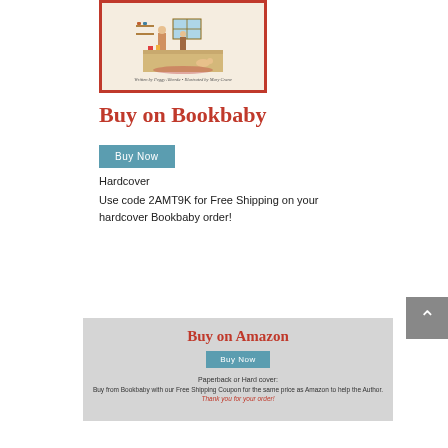[Figure (illustration): Book cover illustration showing a kitchen scene with characters, red border, text at bottom reading 'Written by Peggy Alberda • Illustrated by Mary Crane']
Buy on Bookbaby
Buy Now
Hardcover
Use code 2AMT9K for Free Shipping on your hardcover Bookbaby order!
Buy on Amazon
Buy Now
Paperback or Hard cover:
Buy from Bookbaby with our Free Shipping Coupon for the same price as Amazon to help the Author.
Thank you for your order!